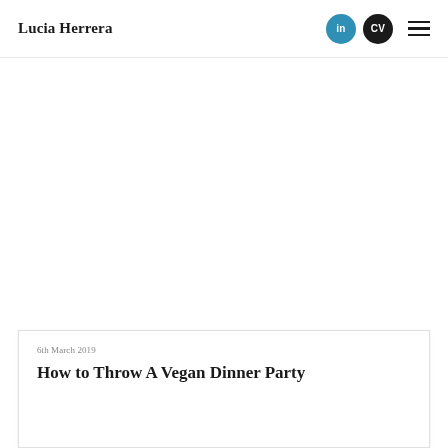Lucia Herrera
[Figure (photo): Large white/blank image area below the header navigation]
6th March 2019
How to Throw A Vegan Dinner Party